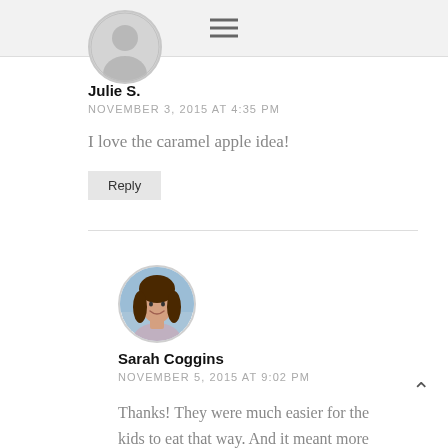[Figure (photo): Circular avatar of a person with dark hair, shown as silhouette in gray circle]
Julie S.
NOVEMBER 3, 2015 AT 4:35 PM
I love the caramel apple idea!
Reply
[Figure (photo): Circular avatar photo of a woman with long dark hair, smiling, with blue sky background]
Sarah Coggins
NOVEMBER 5, 2015 AT 9:02 PM
Thanks! They were much easier for the kids to eat that way. And it meant more dipping fun – which always rules for kids!